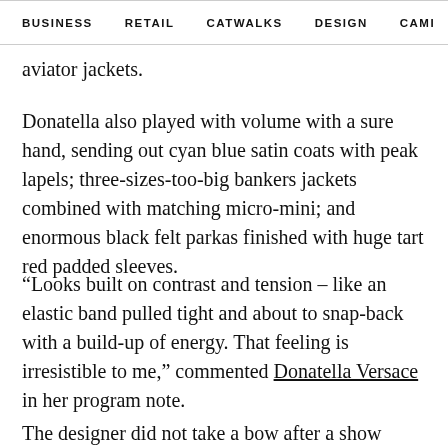BUSINESS   RETAIL   CATWALKS   DESIGN   CAMI  >
aviator jackets.
Donatella also played with volume with a sure hand, sending out cyan blue satin coats with peak lapels; three-sizes-too-big bankers jackets combined with matching micro-mini; and enormous black felt parkas finished with huge tart red padded sleeves.
“Looks built on contrast and tension – like an elastic band pulled tight and about to snap-back with a build-up of energy. That feeling is irresistible to me,” commented Donatella Versace in her program note.
The designer did not take a bow after a show staged on a